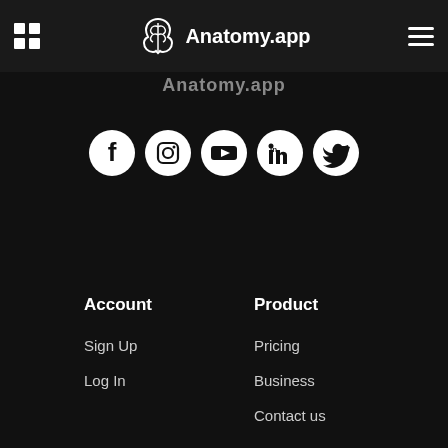Anatomy.app
Anatomy.app
[Figure (infographic): Row of 5 social media icons (Facebook, Instagram, YouTube, LinkedIn, Twitter) as white icons on dark circular backgrounds]
Account
Sign Up
Log In
Product
Pricing
Business
Contact us